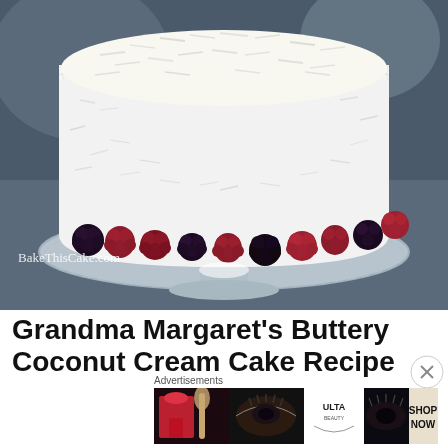[Figure (photo): A round white cake covered in shredded coconut, decorated around the base with fresh raspberries and blackberries, displayed on a decorative glass cake stand. Photo watermarked with BakeThisCake.com]
BakeThisCake.com
Grandma Margaret's Buttery Coconut Cream Cake Recipe
[Figure (advertisement): Advertisements banner featuring beauty product ads including makeup and ULTA Beauty with SHOP NOW call to action]